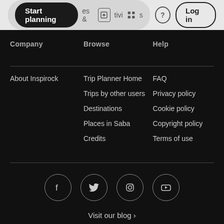Start planning  &  Activities  ?  Log in
Company
Browse
Help
About Inspirock
Trip Planner Home
FAQ
Trips by other users
Privacy policy
Destinations
Cookie policy
Places in Saba
Copyright policy
Credits
Terms of use
[Figure (illustration): Social media icons: Facebook, Twitter, Instagram, YouTube]
Visit our blog ›